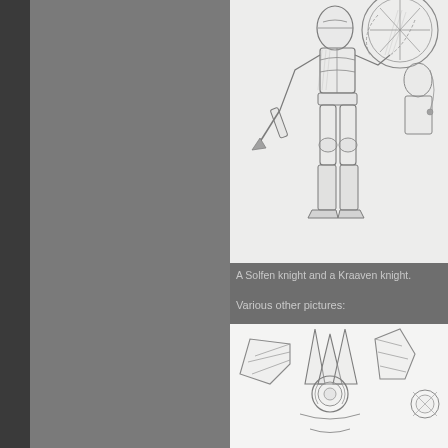[Figure (illustration): Pencil sketch of a Solfen knight and a Kraaven knight, full-body drawing showing armored figures with weapons and elaborate armor details]
A Solfen knight and a Kraaven knight.
Various other pictures:
[Figure (illustration): Pencil sketch of fantasy creatures or characters with wing-like and ornate design elements]